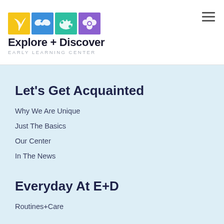[Figure (logo): Explore + Discover Early Learning Center logo with four colored square icons (yellow, blue, teal, purple) and text below]
Explore + Discover
EARLY LEARNING CENTER
Let's Get Acquainted
Why We Are Unique
Just The Basics
Our Center
In The News
Everyday At E+D
Routines+Care